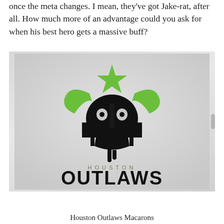once the meta changes. I mean, they've got Jake-rat, after all. How much more of an advantage could you ask for when his best hero gets a massive buff?
[Figure (logo): Houston Outlaws esports team logo featuring a bull skull with green horns and a green star above it, with the text 'HOUSTON' in spaced letters and 'OUTLAWS' in large stylized font below, on a light gray gradient background.]
Houston Outlaws Macarons